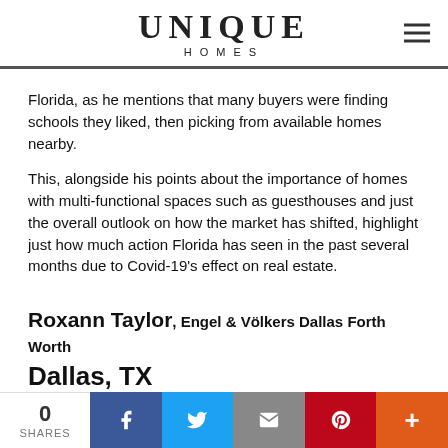UNIQUE HOMES
Florida, as he mentions that many buyers were finding schools they liked, then picking from available homes nearby.
This, alongside his points about the importance of homes with multi-functional spaces such as guesthouses and just the overall outlook on how the market has shifted, highlight just how much action Florida has seen in the past several months due to Covid-19's effect on real estate.
Roxann Taylor, Engel & Völkers Dallas Forth Worth
Dallas, TX
As an real estate agent with 40-plus years of selling experience, Roxann